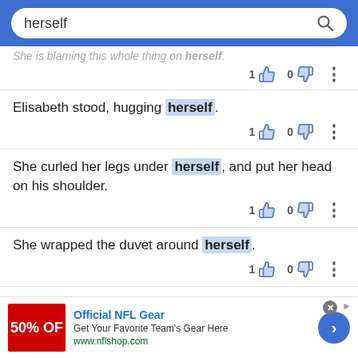herself (search bar)
She is blaming this whole thing on herself.
Elisabeth stood, hugging herself.
She curled her legs under herself, and put her head on his shoulder.
She wrapped the duvet around herself.
[Figure (screenshot): Advertisement banner for Official NFL Gear with red image, title, description, and blue arrow button.]